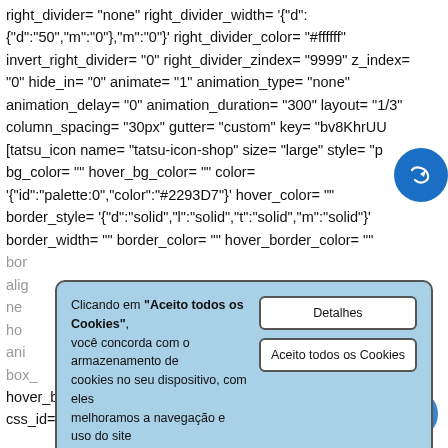right_divider= "none" right_divider_width= '{"d": {"d":"50","m":"0"},"m":"0"}' right_divider_color= "#ffffff" invert_right_divider= "0" right_divider_zindex= "9999" z_index= "0" hide_in= "0" animate= "1" animation_type= "none" animation_delay= "0" animation_duration= "300" layout= "1/3" column_spacing= "30px" gutter= "custom" key= "bv8KhrUUE..." [tatsu_icon name= "tatsu-icon-shop" size= "large" style= "p... bg_color= "" hover_bg_color= "" color= '{"id":"palette:0","color":"#2293D7"}' hover_color= "" border_style= '{"d":"solid","l":"solid","t":"solid","m":"solid"}' border_width= "" border_color= "" hover_border_color= "" bor... alig... ne... ho... ani... box_... hover_box_shadow= "0px 0px 0px 0px rgba(0,0,0,0,..._in= "" css_id= "" css_classes= "" animate= "1" animation_duration=
[Figure (screenshot): Cookie consent dialog with light blue background. Text reads: Clicando em 'Aceito todos os Cookies', você concorda com o armazenamento de cookies no seu dispositivo, com eles melhoramos a navegação e uso do site além de sermos mais assertivos com o marketing. Two buttons: 'Detalhes' and 'Aceito todos os Cookies'.]